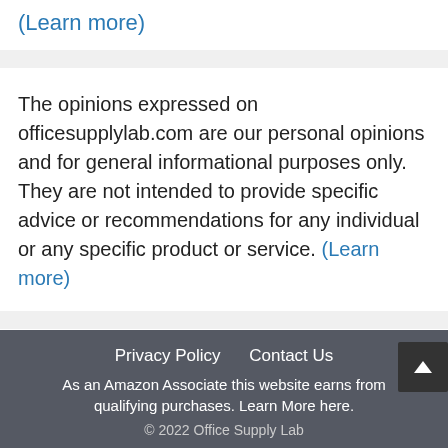(Learn more)
The opinions expressed on officesupplylab.com are our personal opinions and for general informational purposes only. They are not intended to provide specific advice or recommendations for any individual or any specific product or service. (Learn more)
Privacy Policy   Contact Us
As an Amazon Associate this website earns from qualifying purchases. Learn More here.
© 2022 Office Supply Lab